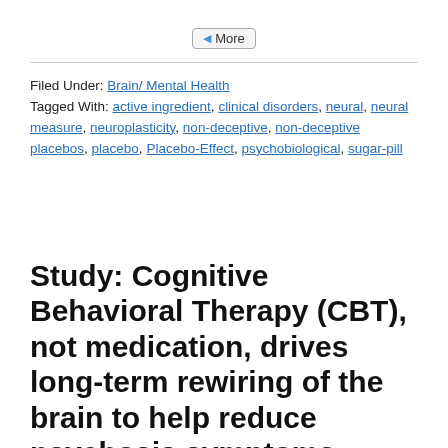[Figure (other): A small button labeled 'More' with a left-pointing arrow icon]
Filed Under: Brain/ Mental Health
Tagged With: active ingredient, clinical disorders, neural, neural measure, neuroplasticity, non-deceptive, non-deceptive placebos, placebo, Placebo-Effect, psychobiological, sugar-pill
Study: Cognitive Behavioral Therapy (CBT), not medication, drives long-term rewiring of the brain to help reduce psychosis symptoms